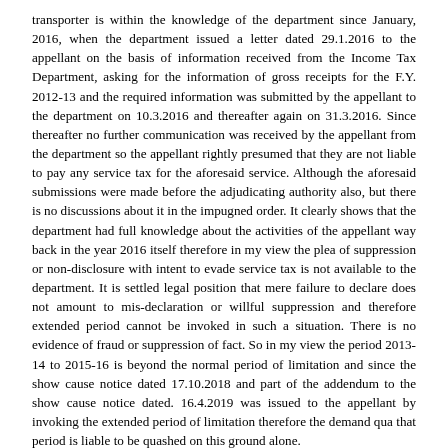transporter is within the knowledge of the department since January, 2016, when the department issued a letter dated 29.1.2016 to the appellant on the basis of information received from the Income Tax Department, asking for the information of gross receipts for the F.Y. 2012-13 and the required information was submitted by the appellant to the department on 10.3.2016 and thereafter again on 31.3.2016. Since thereafter no further communication was received by the appellant from the department so the appellant rightly presumed that they are not liable to pay any service tax for the aforesaid service. Although the aforesaid submissions were made before the adjudicating authority also, but there is no discussions about it in the impugned order. It clearly shows that the department had full knowledge about the activities of the appellant way back in the year 2016 itself therefore in my view the plea of suppression or non-disclosure with intent to evade service tax is not available to the department. It is settled legal position that mere failure to declare does not amount to mis-declaration or willful suppression and therefore extended period cannot be invoked in such a situation. There is no evidence of fraud or suppression of fact. So in my view the period 2013-14 to 2015-16 is beyond the normal period of limitation and since the show cause notice dated 17.10.2018 and part of the addendum to the show cause notice dated. 16.4.2019 was issued to the appellant by invoking the extended period of limitation therefore the demand qua that period is liable to be quashed on this ground alone.
7. Now I will take the period from April, 2016 to June, 2017 as it falls within the normal period. It is not the case of the department that the appellant though has collected the service tax but not paid the same to the government. The demand confirmed in the impugned order pertains to GTA services provided by the appellant to the proprietorship concern because according to the authorities below, since the persons to whom GTA service was provided by the appellant were proprietorship concerns, Reverse Charge Mechanism is not applicable to them and the appellant is liable to pay service tax. The appellant disputed the demand since according to them, such proprietorship